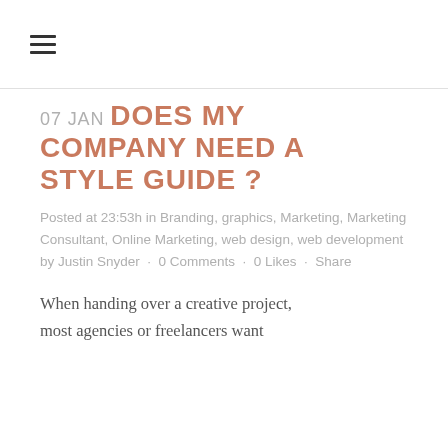≡
07 JAN DOES MY COMPANY NEED A STYLE GUIDE ?
Posted at 23:53h in Branding, graphics, Marketing, Marketing Consultant, Online Marketing, web design, web development by Justin Snyder · 0 Comments · 0 Likes · Share
When handing over a creative project, most agencies or freelancers want